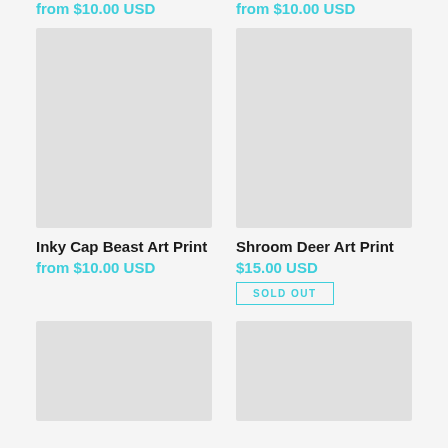from $10.00 USD
from $10.00 USD
[Figure (photo): Product image placeholder for Inky Cap Beast Art Print]
[Figure (photo): Product image placeholder for Shroom Deer Art Print]
Inky Cap Beast Art Print
from $10.00 USD
Shroom Deer Art Print
$15.00 USD
SOLD OUT
[Figure (photo): Product image placeholder (bottom left)]
[Figure (photo): Product image placeholder (bottom right)]